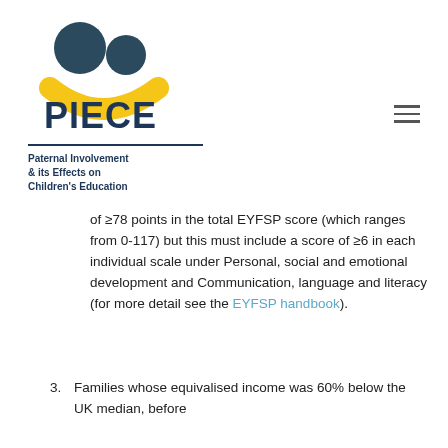[Figure (logo): PIECE logo: two circular heads above a yellow arc/smile shape, with 'PIECE' in dark navy bold text below, and a horizontal rule followed by tagline 'Paternal Involvement & its Effects on Children's Education']
of ≥78 points in the total EYFSP score (which ranges from 0-117) but this must include a score of ≥6 in each individual scale under Personal, social and emotional development and Communication, language and literacy (for more detail see the EYFSP handbook).
3. Families whose equivalised income was 60% below the UK median, before